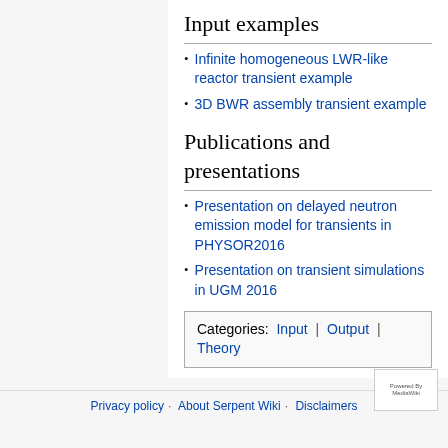Input examples
Infinite homogeneous LWR-like reactor transient example
3D BWR assembly transient example
Publications and presentations
Presentation on delayed neutron emission model for transients in PHYSOR2016
Presentation on transient simulations in UGM 2016
Categories: Input | Output | Theory
Privacy policy   About Serpent Wiki   Disclaimers